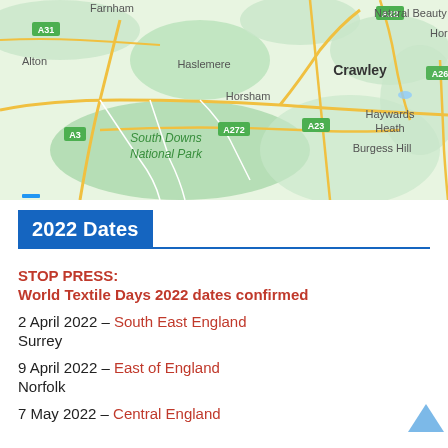[Figure (map): Google Maps view showing South East England area including Farnham, Alton, Haslemere, Horsham, Crawley, Horley, Haywards Heath, Burgess Hill, South Downs National Park, with road labels A3, A22, A23, A26, A31, A272]
2022 Dates
STOP PRESS:
World Textile Days 2022 dates confirmed
2 April 2022 – South East England
Surrey
9 April 2022 – East of England
Norfolk
7 May 2022 – Central England